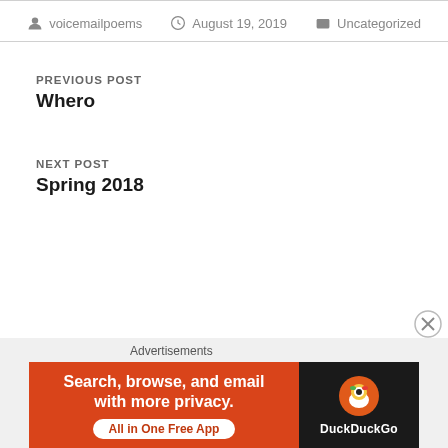voicemailpoems   August 19, 2019   Uncategorized
PREVIOUS POST
Whero
NEXT POST
Spring 2018
Advertisements
[Figure (other): DuckDuckGo advertisement banner: Search, browse, and email with more privacy. All in One Free App.]